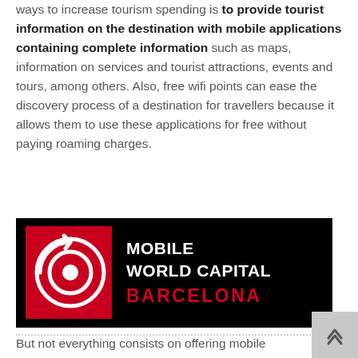ways to increase tourism spending is to provide tourist information on the destination with mobile applications containing complete information such as maps, information on services and tourist attractions, events and tours, among others. Also, free wifi points can ease the discovery process of a destination for travellers because it allows them to use these applications for free without paying roaming charges.
[Figure (logo): Mobile World Capital Barcelona logo — black background with red square graphic containing white circular arrow icon, white text 'MOBILE WORLD CAPITAL' and red text 'BARCELONA']
But not everything consists on offering mobile applications for tourists. Doro does for more decision assigned to